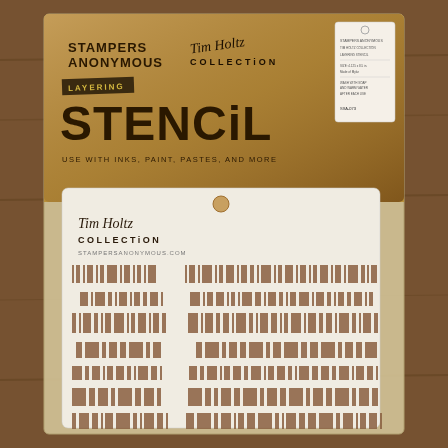[Figure (photo): Product photo of Stampers Anonymous Tim Holtz Collection Layering Stencil featuring barcode pattern design, shown in packaging on a wood background]